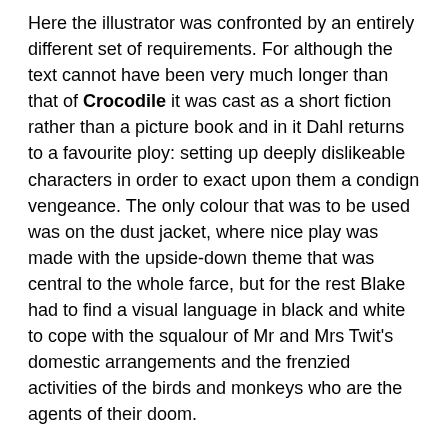Here the illustrator was confronted by an entirely different set of requirements. For although the text cannot have been very much longer than that of Crocodile it was cast as a short fiction rather than a picture book and in it Dahl returns to a favourite ploy: setting up deeply dislikeable characters in order to exact upon them a condign vengeance. The only colour that was to be used was on the dust jacket, where nice play was made with the upside-down theme that was central to the whole farce, but for the rest Blake had to find a visual language in black and white to cope with the squalour of Mr and Mrs Twit's domestic arrangements and the frenzied activities of the birds and monkeys who are the agents of their doom.
At this point it is perhaps worth hazarding an opinion about the effect on Dahl of his move to Jonathan Cape.